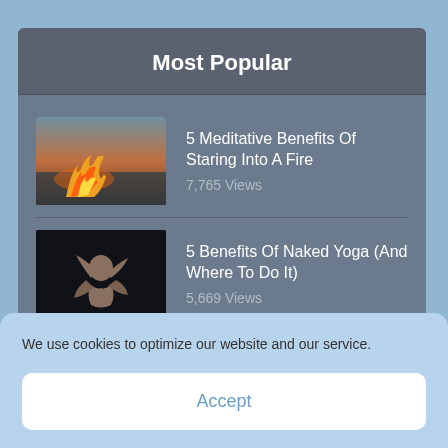Most Popular
5 Meditative Benefits Of Staring Into A Fire
7,765 Views
5 Benefits Of Naked Yoga (And Where To Do It)
5,669 Views
How To Practice
We use cookies to optimize our website and our service.
Accept